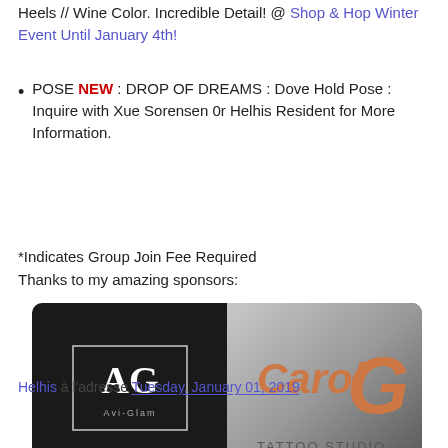Heels // Wine Color. Incredible Detail! @ Shop & Hop Winter Event Until January 4th!
POSE NEW : DROP OF DREAMS : Dove Hold Pose : Inquire with Xue Sorensen 0r Helhis Resident for More Information.
*Indicates Group Join Fee Required
Thanks to my amazing sponsors:
[Figure (logo): Two sponsor logos side by side: AG Avi-Glam (dark background with AG monogram in white box) and CarolG Tattoo Studio (orange stylized text on grey background)]
Composed, pictured and posted by Helhis
Helhis à l'adresse Tuesday, January 01, 2019
Share